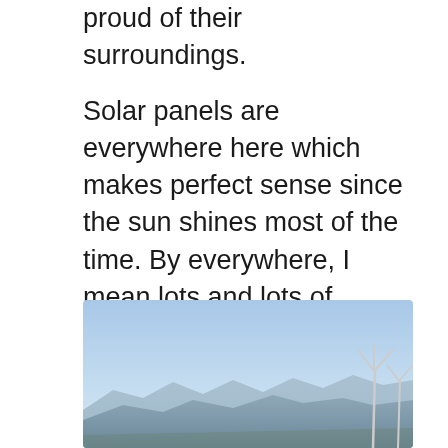proud of their surroundings.

Solar panels are everywhere here which makes perfect sense since the sun shines most of the time. By everywhere, I mean lots and lots of houses have their roofs covered with them. What surprised us was the prevalence of wind power options. We drove through an entire forest of the wind turbines when we arrived last Tuesday, but today we got up close to them so I took a photo. This field is located near the I-10 corridor …
[Figure (photo): Outdoor photograph showing wind turbines against a blue sky with mountains in the background. The lower portion shows mountain ridges and at least two wind turbine towers visible on the right side of the image.]